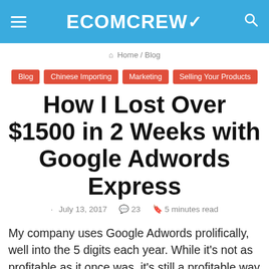ECOMCREW
Home / Blog
Blog
Chinese Importing
Marketing
Selling Your Products
How I Lost Over $1500 in 2 Weeks with Google Adwords Express
July 13, 2017  23  5 minutes read
My company uses Google Adwords prolifically, well into the 5 digits each year. While it's not as profitable as it once was, it's still a profitable way